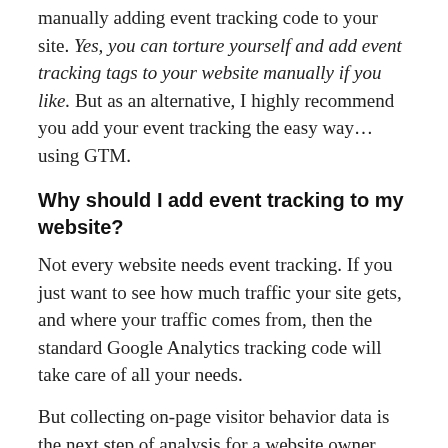manually adding event tracking code to your site. Yes, you can torture yourself and add event tracking tags to your website manually if you like. But as an alternative, I highly recommend you add your event tracking the easy way… using GTM.
Why should I add event tracking to my website?
Not every website needs event tracking. If you just want to see how much traffic your site gets, and where your traffic comes from, then the standard Google Analytics tracking code will take care of all your needs.
But collecting on-page visitor behavior data is the next step of analysis for a website owner who wants to excel in marketing and business...